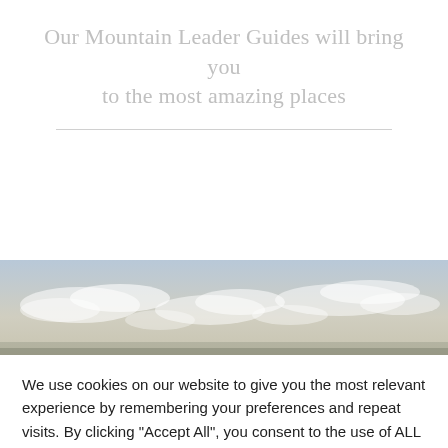Our Mountain Leader Guides will bring you to the most amazing places
[Figure (photo): Panoramic sky photograph showing clouds against a blue-grey sky, used as a decorative banner image]
We use cookies on our website to give you the most relevant experience by remembering your preferences and repeat visits. By clicking "Accept All", you consent to the use of ALL the cookies. However, you may visit "Cookie Settings" to provide a controlled consent.